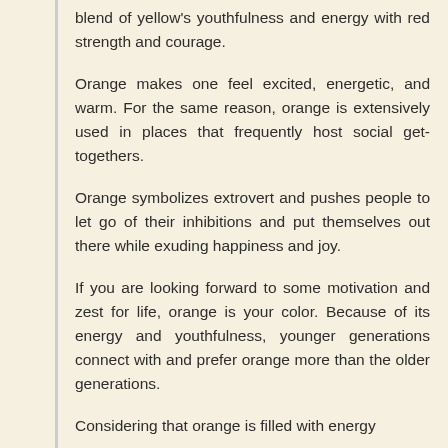blend of yellow's youthfulness and energy with red strength and courage.
Orange makes one feel excited, energetic, and warm. For the same reason, orange is extensively used in places that frequently host social get-togethers.
Orange symbolizes extrovert and pushes people to let go of their inhibitions and put themselves out there while exuding happiness and joy.
If you are looking forward to some motivation and zest for life, orange is your color. Because of its energy and youthfulness, younger generations connect with and prefer orange more than the older generations.
Considering that orange is filled with energy